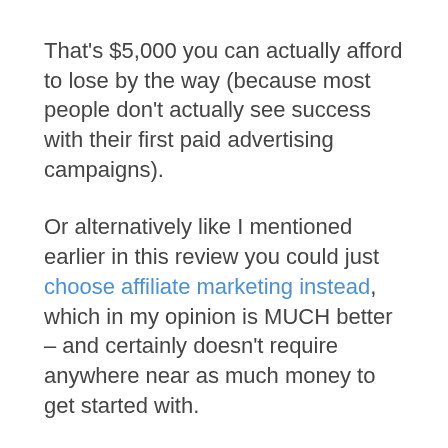That's $5,000 you can actually afford to lose by the way (because most people don't actually see success with their first paid advertising campaigns).
Or alternatively like I mentioned earlier in this review you could just choose affiliate marketing instead, which in my opinion is MUCH better – and certainly doesn't require anywhere near as much money to get started with.
But let's say you've got that kind of money to play with & you're still interested in dropshipping specifically...